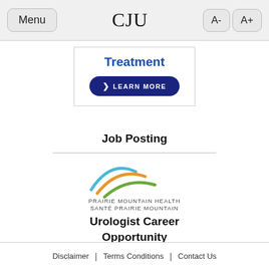Menu  CJU  A-  A+
[Figure (other): Advertisement box with bold blue 'Treatment' text and a dark blue 'LEARN MORE' button with arrow]
Job Posting
[Figure (logo): Prairie Mountain Health / Santé Prairie Mountain logo with colorful arc swooshes in blue, orange, and green above the organization name]
Urologist Career Opportunity
Brandon Regional Health Centre
Disclaimer | Terms Conditions | Contact Us